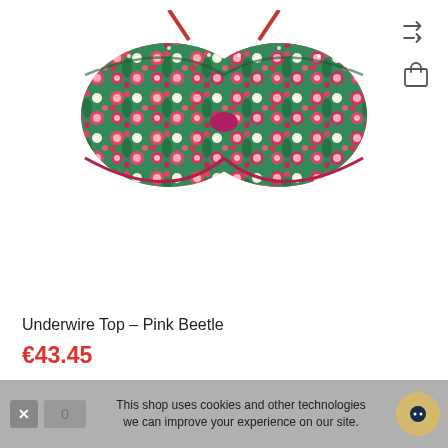[Figure (photo): Product photo of a floral underwire bikini top in pink and green 'Pink Beetle' pattern, shown on white background, viewed from front. Straps extend upward.]
Underwire Top – Pink Beetle
€43.45
This shop uses cookies and other technologies we can improve your experience on our site.